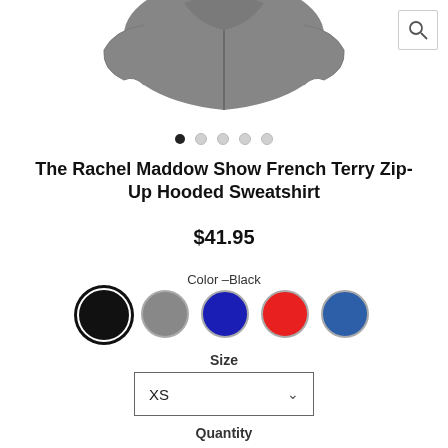[Figure (photo): Partial view of a gray zip-up hooded sweatshirt from above, with a search/magnify icon button in the top right corner]
The Rachel Maddow Show French Terry Zip-Up Hooded Sweatshirt
$41.95
Color — Black
[Figure (infographic): Five color swatches: black (selected), gray, navy blue, red, blue]
Size
[Figure (screenshot): Size dropdown selector showing XS with chevron]
Quantity